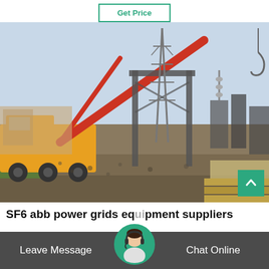Get Price
[Figure (photo): Construction site photo showing a yellow crane truck and electrical substation infrastructure with steel lattice towers and high voltage equipment under construction, gravel ground and green grass in foreground.]
SF6 abb power grids equipment suppliers
Leave Message
Chat Online